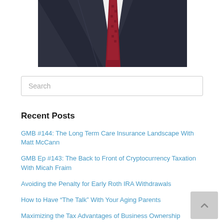[Figure (photo): Partial photo of a man in a dark navy suit with a burgundy/dark red patterned tie and white dress shirt, cropped to show chest and tie area only.]
Search
Recent Posts
GMB #144: The Long Term Care Insurance Landscape With Matt McCann
GMB Ep #143: The Back to Front of Cryptocurrency Taxation With Micah Fraim
Avoiding the Penalty for Early Roth IRA Withdrawals
How to Have “The Talk” With Your Aging Parents
Maximizing the Tax Advantages of Business Ownership